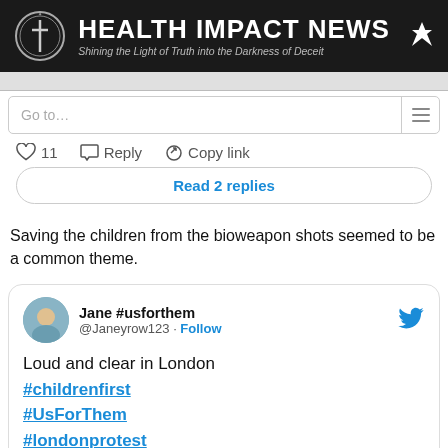HEALTH IMPACT NEWS — Shining the Light of Truth into the Darkness of Deceit
[Figure (screenshot): Navigation bar with 'Go to...' dropdown and hamburger menu icon]
[Figure (screenshot): Tweet action bar with heart icon, 11 likes, Reply, Copy link buttons]
[Figure (screenshot): Read 2 replies button]
Saving the children from the bioweapon shots seemed to be a common theme.
[Figure (screenshot): Tweet by Jane #usforthem (@Janeyrow123) with text: 'Loud and clear in London #childrenfirst #UsForThem #londonprotest' and a partially visible protest photo]